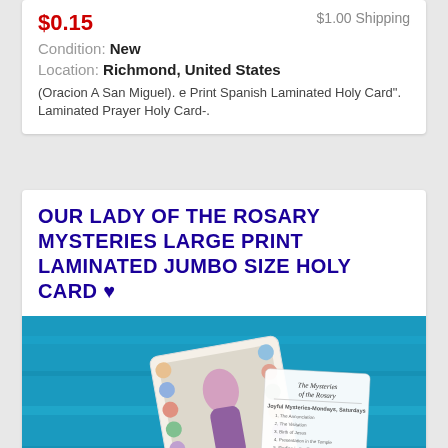$0.15 Shipping  Condition: New  Location: Richmond, United States  (Oracion A San Miguel). e Print Spanish Laminated Holy Card". Laminated Prayer Holy Card-.
OUR LADY OF THE ROSARY MYSTERIES LARGE PRINT LAMINATED JUMBO SIZE HOLY CARD ♥
[Figure (photo): A hand holding a laminated holy card showing Our Lady of the Rosary with many small religious images around the border. In the background, another card is visible showing 'The Mysteries of the Rosary' with text listing Joyful Mysteries-Mondays, Saturdays; Luminous Mysteries-Thursdays; Sorrowful Mysteries-Tuesdays, Fridays; Glorious Mysteries-Wednesdays, Sundays. The background is blue.]